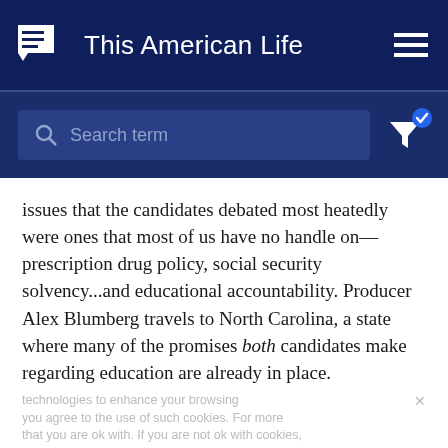This American Life
Search term
issues that the candidates debated most heatedly were ones that most of us have no handle on—prescription drug policy, social security solvency...and educational accountability. Producer Alex Blumberg travels to North Carolina, a state where many of the promises both candidates make regarding education are already in place.
Act Three: Nepotism: A Beginner's Guide
Reporter Adam Davidson is related to George W. Bush.